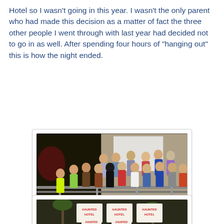Hotel so I wasn't going in this year. I wasn't the only parent who had made this decision as a matter of fact the three other people I went through with last year had decided not to go in as well. After spending four hours of "hanging out" this is how the night ended.
[Figure (photo): Group photo of teenagers standing behind metal crowd-control barriers outside at night, in front of a building with a white screen/wall visible behind them.]
The kids
[Figure (photo): Signs reading 'HAUNTED HOTEL' visible near palm trees at night.]